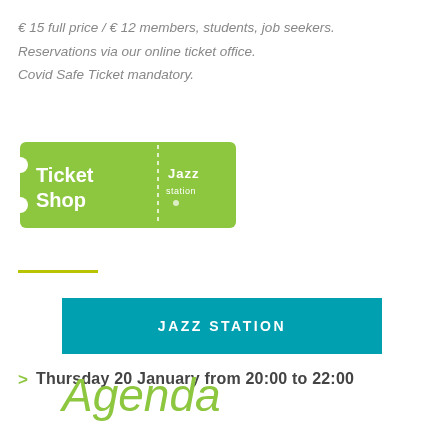€ 15 full price / € 12 members, students, job seekers. Reservations via our online ticket office. Covid Safe Ticket mandatory.
[Figure (logo): Ticket Shop Jazz Station logo — green ticket-shaped graphic with white text 'Ticket Shop' on left and 'Jazz Station' logo on right]
[Figure (other): Horizontal olive/yellow-green divider line]
JAZZ STATION
> Thursday 20 January from 20:00 to 22:00
Agenda